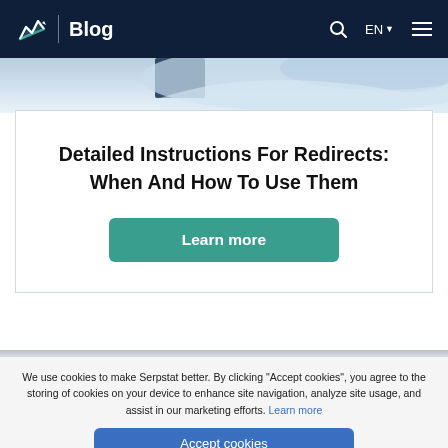Blog
[Figure (screenshot): Partial hero/banner image with blue geometric shapes visible at top]
Detailed Instructions For Redirects: When And How To Use Them
Learn more
We use cookies to make Serpstat better. By clicking "Accept cookies", you agree to the storing of cookies on your device to enhance site navigation, analyze site usage, and assist in our marketing efforts. Learn more
Accept cookies